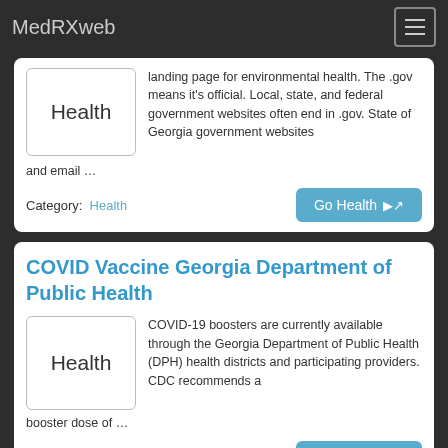MedRXweb
landing page for environmental health. The .gov means it's official. Local, state, and federal government websites often end in .gov. State of Georgia government websites and email …
Category: Health
COVID Vaccine Georgia Department of Public Health
COVID-19 boosters are currently available through the Georgia Department of Public Health (DPH) health districts and participating providers. CDC recommends a booster dose of …
Category: Health